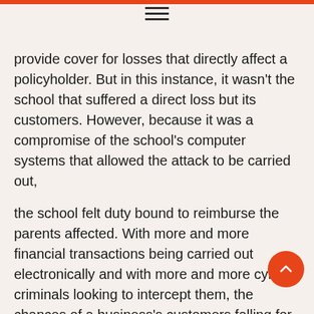provide cover for losses that directly affect a policyholder. But in this instance, it wasn't the school that suffered a direct loss but its customers. However, because it was a compromise of the school's computer systems that allowed the attack to be carried out,
the school felt duty bound to reimburse the parents affected. With more and more financial transactions being carried out electronically and with more and more cyber criminals looking to intercept them, the chances of a business's customers falling for scams of this nature are only increasing and it's usually the business that has been impersonated that will take the blame. That's why it's a good idea to check your cyber policy for customer payment fraud cover.